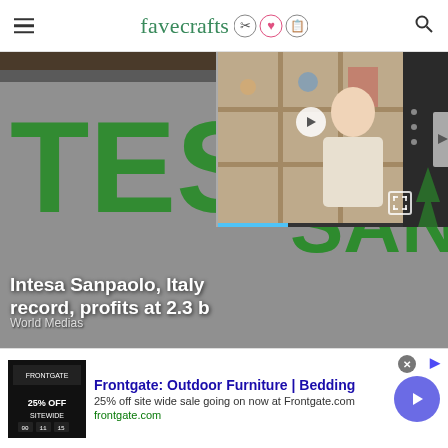favecrafts
[Figure (photo): Intesa Sanpaolo bank sign with green letters on grey building and a video overlay thumbnail of a woman at a craft table]
Intesa Sanpaolo, Italy record, profits at 2.3 b
World Medias
Frontgate: Outdoor Furniture | Bedding
25% off site wide sale going on now at Frontgate.com
frontgate.com